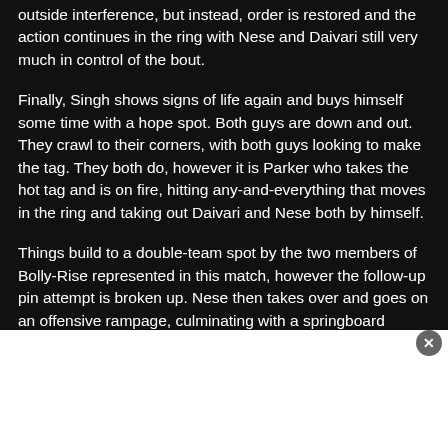outside interference, but instead, order is restored and the action continues in the ring with Nese and Daivari still very much in control of the bout.
Finally, Singh shows signs of life again and buys himself some time with a hope spot. Both guys are down and out. They crawl to their corners, with both guys looking to make the tag. They both do, however it is Parker who takes the hot tag and is on fire, hitting any-and-everything that moves in the ring and taking out Daivari and Nese both by himself.
Things build to a double-team spot by the two members of Bolly-Rise represented in this match, however the follow-up pin attempt is broken up. Nese then takes over and goes on an offensive rampage, culminating with a springboard